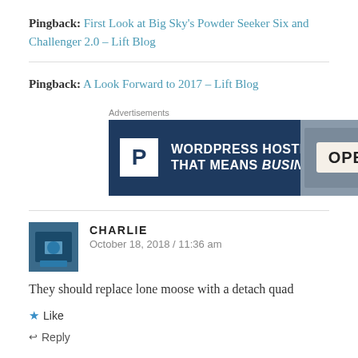Pingback: First Look at Big Sky's Powder Seeker Six and Challenger 2.0 – Lift Blog
Pingback: A Look Forward to 2017 – Lift Blog
[Figure (other): WordPress Hosting advertisement banner with 'P' logo icon and OPEN sign image. Text: WORDPRESS HOSTING THAT MEANS BUSINESS.]
CHARLIE
October 18, 2018 / 11:36 am
They should replace lone moose with a detach quad
Like
Reply